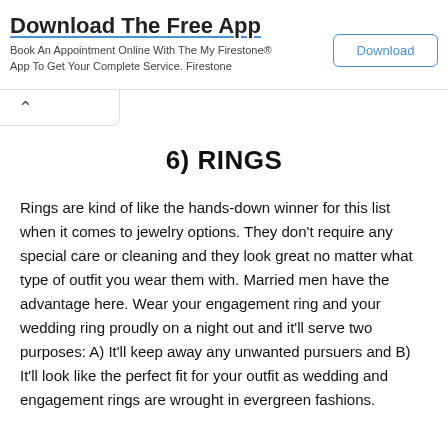[Figure (screenshot): Advertisement banner for 'Download The Free App' - Book An Appointment Online With The My Firestone® App To Get Your Complete Service. Firestone. With a Download button on the right.]
6) RINGS
Rings are kind of like the hands-down winner for this list when it comes to jewelry options. They don't require any special care or cleaning and they look great no matter what type of outfit you wear them with. Married men have the advantage here. Wear your engagement ring and your wedding ring proudly on a night out and it'll serve two purposes: A) It'll keep away any unwanted pursuers and B) It'll look like the perfect fit for your outfit as wedding and engagement rings are wrought in evergreen fashions.